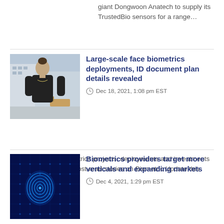giant Dongwoon Anatech to supply its TrustedBio sensors for a range…
[Figure (photo): Woman standing outdoors in front of a busy street scene, wearing a black top]
Large-scale face biometrics deployments, ID document plan details revealed
Dec 18, 2021, 1:08 pm EST
A series of large biometrics projects, deployments and investments were unveiled in the most-read stories on Biometric Update this week,…
[Figure (photo): Blue digital fingerprint image with glowing circuit-board background]
Biometrics providers target more verticals and expanding markets
Dec 4, 2021, 1:29 pm EST